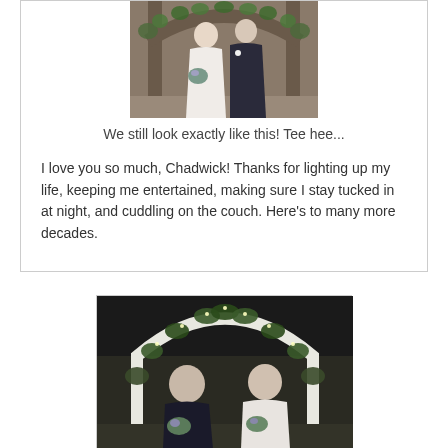[Figure (photo): Wedding photo of a couple standing under a decorated arch. The woman is in a white dress holding a bouquet, the man is in a dark suit. Black and white/sepia toned photograph.]
We still look exactly like this! Tee hee...
I love you so much, Chadwick! Thanks for lighting up my life, keeping me entertained, making sure I stay tucked in at night, and cuddling on the couch. Here's to many more decades.
[Figure (photo): Photo of two women standing under a decorative white arch with floral decorations outdoors. One woman is wearing a dark top and the other is in a white dress. Appears to be from a wedding.]